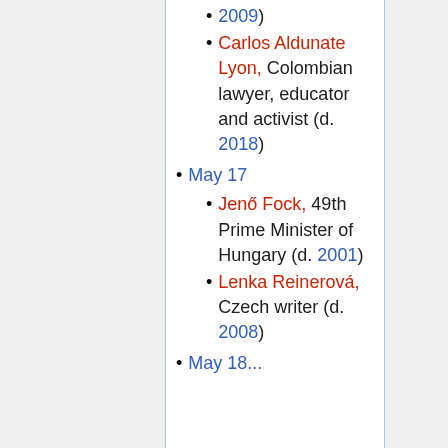2009)
Carlos Aldunate Lyon, Colombian lawyer, educator and activist (d. 2018)
May 17
Jenő Fock, 49th Prime Minister of Hungary (d. 2001)
Lenka Reinerová, Czech writer (d. 2008)
May 18...